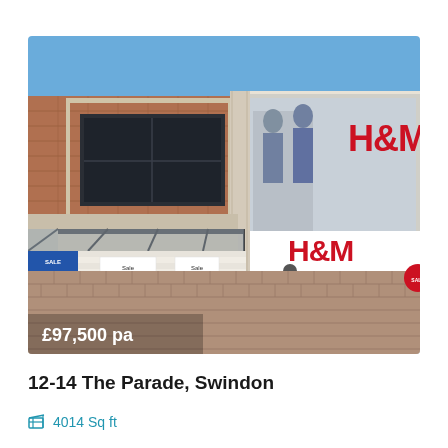[Figure (photo): Street-level photo of retail units at 12-14 The Parade, Swindon. Shows a brick and stone shopping precinct building. Left side has a small shop with sale signs showing £5. Right side is an H&M store with large glass frontage displaying the H&M logo twice. Pedestrians are walking in a brick-paved pedestrian area in front. Price overlay '£97,500 pa' appears at the bottom left of the image.]
12-14 The Parade, Swindon
4014 Sq ft